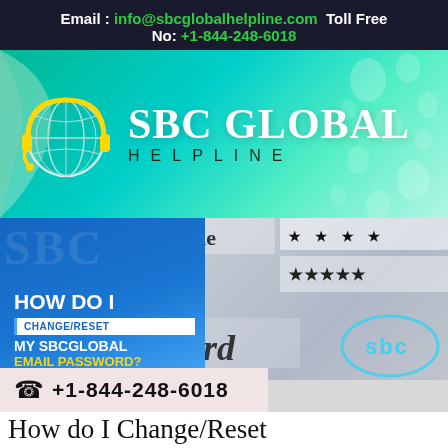Email : info@sbcglobalhelpline.com  Toll Free No: +1-844-248-6018
[Figure (logo): SBC Global Helpline logo with headset icon on green water-drop background. Text reads 'SBC GLOBAL HELPLINE'.]
[Figure (infographic): Promotional image with blue left panel reading 'HOW DO I CHANGE/RESET MY SBCGLOBAL EMAIL PASSWORD?' and right side showing a keyboard/password field with asterisks and SBC logo overlay. Phone bar shows +1-844-248-6018.]
How do I Change/Reset